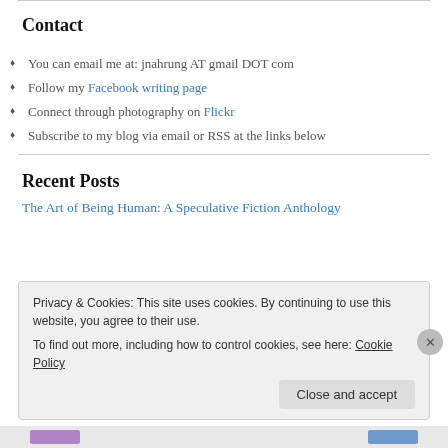Contact
You can email me at: jnahrung AT gmail DOT com
Follow my Facebook writing page
Connect through photography on Flickr
Subscribe to my blog via email or RSS at the links below
Recent Posts
The Art of Being Human: A Speculative Fiction Anthology
Privacy & Cookies: This site uses cookies. By continuing to use this website, you agree to their use. To find out more, including how to control cookies, see here: Cookie Policy